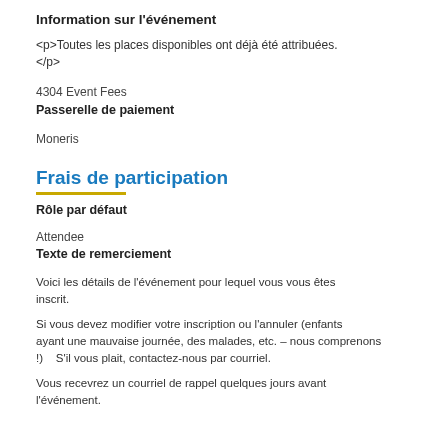Information sur l'événement
<p>Toutes les places disponibles ont déjà été attribuées.
</p>
4304 Event Fees
Passerelle de paiement
Moneris
Frais de participation
Rôle par défaut
Attendee
Texte de remerciement
Voici les détails de l'événement pour lequel vous vous êtes inscrit.
Si vous devez modifier votre inscription ou l'annuler (enfants ayant une mauvaise journée, des malades, etc. – nous comprenons !)   S'il vous plait, contactez-nous par courriel.
Vous recevrez un courriel de rappel quelques jours avant l'événement.